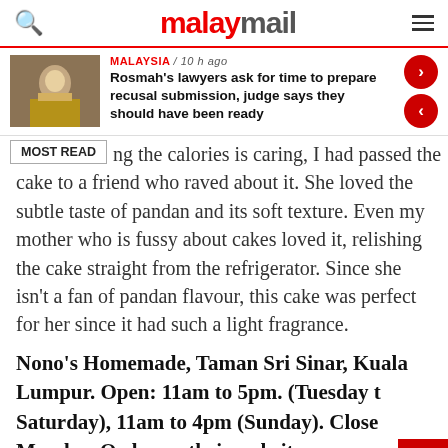malay mail
[Figure (screenshot): News article thumbnail showing people in traditional dress]
MALAYSIA / 10 h ago
Rosmah's lawyers ask for time to prepare recusal submission, judge says they should have been ready
MOST READ
ng the calories is caring, I had passed the cake to a friend who raved about it. She loved the subtle taste of pandan and its soft texture. Even my mother who is fussy about cakes loved it, relishing the cake straight from the refrigerator. Since she isn't a fan of pandan flavour, this cake was perfect for her since it had such a light fragrance.
Nono's Homemade, Taman Sri Sinar, Kuala Lumpur. Open: 11am to 5pm. (Tuesday to Saturday), 11am to 4pm (Sunday). Closed on Monday. Order on their website https://nonoshomemade.maynuu.com